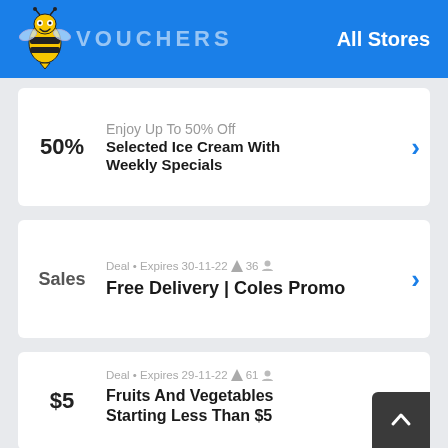VOUCHERS | All Stores
50%
Enjoy Up To 50% Off Selected Ice Cream With Weekly Specials
Sales
Deal • Expires 30-11-22 🔔 36 👤
Free Delivery | Coles Promo
$5
Deal • Expires 29-11-22 🔔 61 👤
Fruits And Vegetables Starting Less Than $5